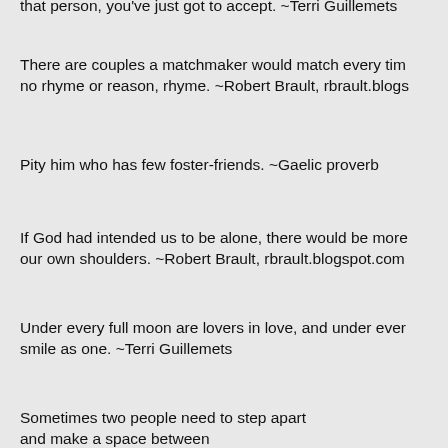that person, you've just got to accept. ~Terri Guillemets
There are couples a matchmaker would match every tim no rhyme or reason, rhyme. ~Robert Brault, rbrault.blogs
Pity him who has few foster-friends. ~Gaelic proverb
If God had intended us to be alone, there would be more our own shoulders. ~Robert Brault, rbrault.blogspot.com
Under every full moon are lovers in love, and under ever smile as one. ~Terri Guillemets
Sometimes two people need to step apart
and make a space between
that each might see the other anew,
in a glance across a room
or silhouetted against the moon.
~Robert Brault, rbrault.blogspot.com